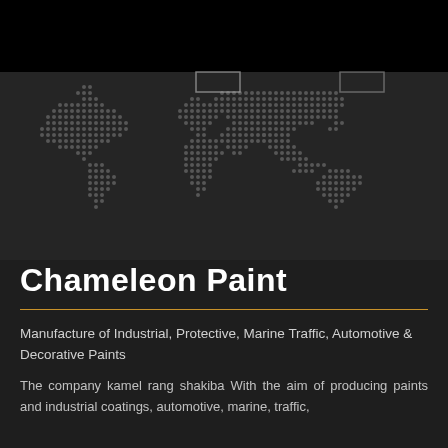[Figure (illustration): Dotted world map graphic on dark background with two highlighted rectangle outlines, rendered in light gray dots on dark charcoal background. Top portion has a black bar.]
Chameleon Paint
Manufacture of Industrial, Protective, Marine Traffic, Automotive & Decorative Paints
The company kamel rang shakiba With the aim of producing paints and industrial coatings, automotive, marine, traffic,